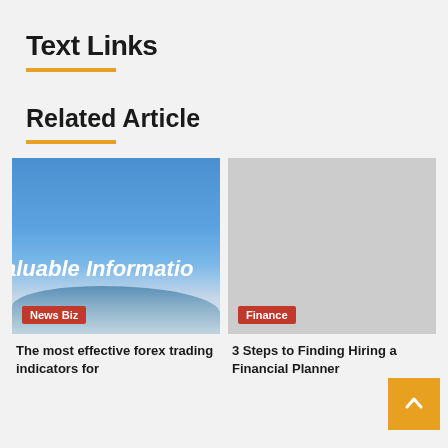Text Links
Related Article
[Figure (photo): Blue sky with clouds and white italic text reading 'aluable Informatio' (partial), with 'News Biz' badge in red at bottom left]
The most effective forex trading indicators for
[Figure (photo): Light gray placeholder image with 'Finance' badge in red at bottom left]
3 Steps to Finding Hiring a Financial Planner